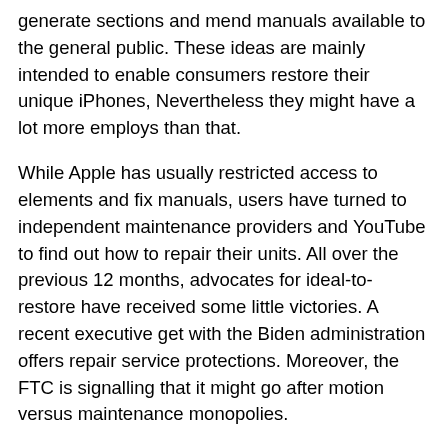generate sections and mend manuals available to the general public. These ideas are mainly intended to enable consumers restore their unique iPhones, Nevertheless they might have a lot more employs than that.
While Apple has usually restricted access to elements and fix manuals, users have turned to independent maintenance providers and YouTube to find out how to repair their units. All over the previous 12 months, advocates for ideal-to-restore have received some little victories. A recent executive get with the Biden administration offers repair service protections. Moreover, the FTC is signalling that it might go after motion versus maintenance monopolies.
This new plan is predicted to start inside the US early future 12 months. It will eventually to begin with address the apple iphone twelve and iPhone 13 lineup, but are going to be rolled out in other nations around the world all through 2022. When Apple is planning to provide apple iphone parts to the